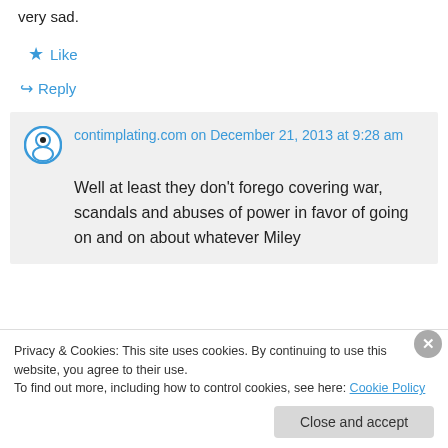very sad.
★ Like
↪ Reply
contimplating.com on December 21, 2013 at 9:28 am
Well at least they don't forego covering war, scandals and abuses of power in favor of going on and on about whatever Miley
Privacy & Cookies: This site uses cookies. By continuing to use this website, you agree to their use.
To find out more, including how to control cookies, see here: Cookie Policy
Close and accept